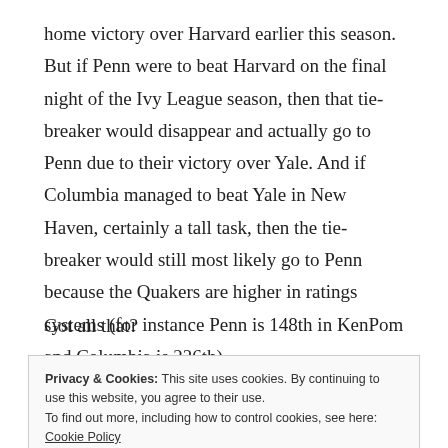home victory over Harvard earlier this season. But if Penn were to beat Harvard on the final night of the Ivy League season, then that tie-breaker would disappear and actually go to Penn due to their victory over Yale. And if Columbia managed to beat Yale in New Haven, certainly a tall task, then the tie-breaker would still most likely go to Penn because the Quakers are higher in ratings systems (for instance Penn is 148th in KenPom and Columbia is 226th).
Got all that?
Privacy & Cookies: This site uses cookies. By continuing to use this website, you agree to their use.
To find out more, including how to control cookies, see here: Cookie Policy
Close and accept